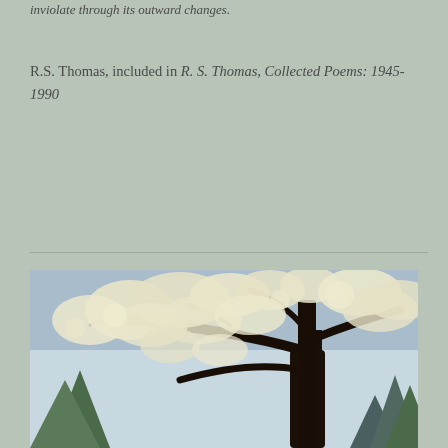inviolate through its outward changes.
R.S. Thomas, included in R. S. Thomas, Collected Poems: 1945-1990
Continue reading
[Figure (photo): A large flowering tree with white blossoms covering its branches, set against a blue-grey sky with evergreen trees in the background.]